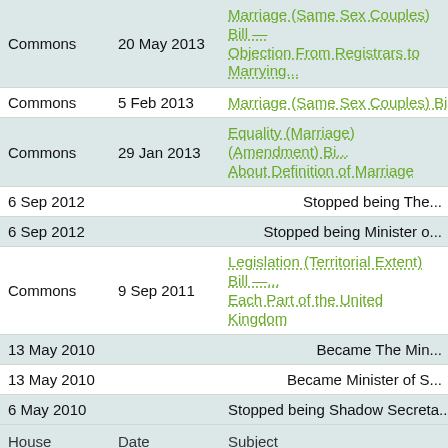| House | Date | Subject |
| --- | --- | --- |
| Commons | 20 May 2013 | Marriage (Same Sex Couples) Bill — Objection From Registrars to Marrying... |
| Commons | 5 Feb 2013 | Marriage (Same Sex Couples) Bill —... |
| Commons | 29 Jan 2013 | Equality (Marriage) (Amendment) Bi... About Definition of Marriage |
| 6 Sep 2012 |  | Stopped being The... |
| 6 Sep 2012 |  | Stopped being Minister o... |
| Commons | 9 Sep 2011 | Legislation (Territorial Extent) Bill —... Each Part of the United Kingdom |
| 13 May 2010 |  | Became The Min... |
| 13 May 2010 |  | Became Minister of S... |
| 6 May 2010 |  | Stopped being Shadow Secreta... |
| House | Date | Subject |
| 19 Jan 2009 |  | Became Shadow Secretary... |
| 19 Jan 2009 |  | Stopped being... |
| Commons | 3 Jul 2008 | MPs' salaries — £650 catch-up paym... |
| Commons | 3 Jul 2008 | MPs' salaries — Increase with Publi... |
| Commons | 3 Jul 2008 | MPs' salaries — Increases capped b... |
| Commons | ...May 2008... | Human Fertilisation and Embryolog... |